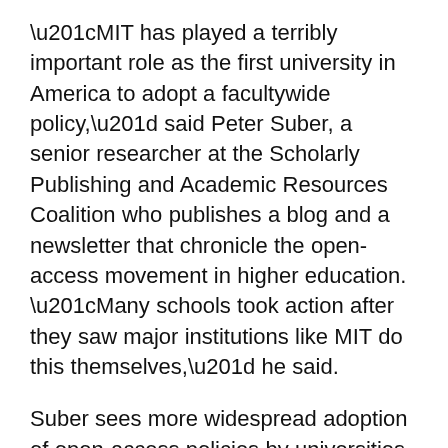“MIT has played a terribly important role as the first university in America to adopt a facultywide policy,” said Peter Suber, a senior researcher at the Scholarly Publishing and Academic Resources Coalition who publishes a blog and a newsletter that chronicle the open-access movement in higher education. “Many schools took action after they saw major institutions like MIT do this themselves,” he said.
Suber sees more widespread adoption of open-access policies by universities and major funding agencies as the main challenge for the open-access movement, noting that although 100 universities have adopted policies, this is a small fraction of the more than 1,000 universities that have online